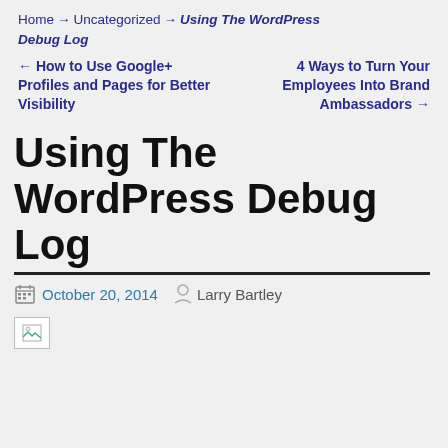Home → Uncategorized → Using The WordPress Debug Log
← How to Use Google+ Profiles and Pages for Better Visibility    4 Ways to Turn Your Employees Into Brand Ambassadors →
Using The WordPress Debug Log
October 20, 2014  Larry Bartley
[Figure (photo): Broken/missing image placeholder at bottom of page]